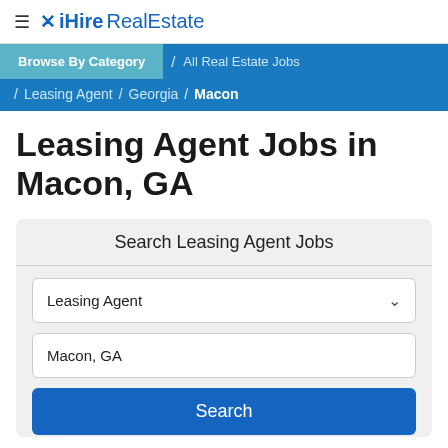≡ ✕ iHire RealEstate
Browse By Category / All Real Estate Jobs / Leasing Agent / Georgia / Macon
Leasing Agent Jobs in Macon, GA
Search Leasing Agent Jobs
Leasing Agent
Macon, GA
Search